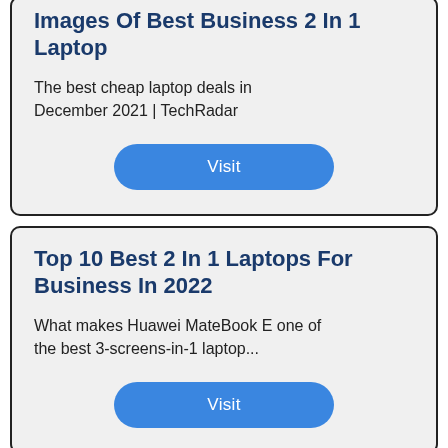Images Of Best Business 2 In 1 Laptop
The best cheap laptop deals in December 2021 | TechRadar
Visit
Top 10 Best 2 In 1 Laptops For Business In 2022
What makes Huawei MateBook E one of the best 3-screens-in-1 laptop...
Visit